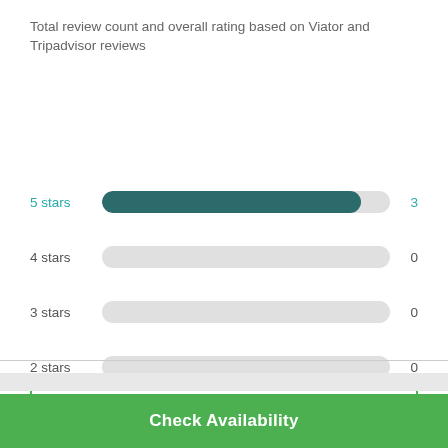Total review count and overall rating based on Viator and Tripadvisor reviews
[Figure (bar-chart): Star ratings]
Loading...
Check Availability